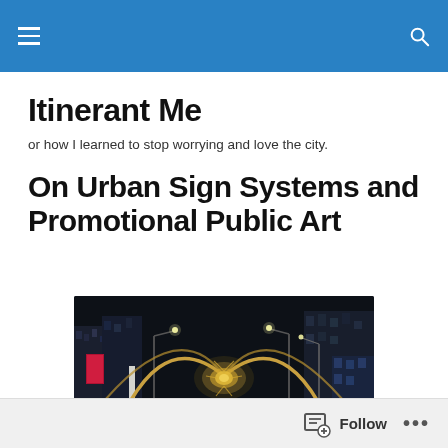Itinerant Me – navigation bar with hamburger menu and search icon
Itinerant Me
or how I learned to stop worrying and love the city.
On Urban Sign Systems and Promotional Public Art
[Figure (photo): Night-time urban street scene with illuminated archway structures and a glowing chandelier-like art installation hanging over the road, with city buildings and street lamps in the background.]
Follow  •••